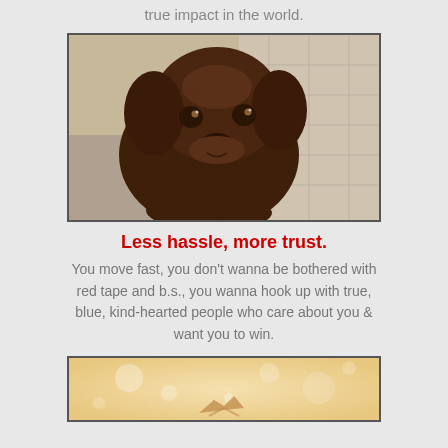true impact in the world.
[Figure (photo): A chocolate Labrador puppy looking up at the camera with big eyes, standing on a tiled floor.]
Less hassle, more trust.
You move fast, you don't wanna be bothered with red tape and b.s., you wanna hook up with true, blue, kind-hearted people who care about you & want you to win.
[Figure (photo): A warm-toned image with bokeh light effects showing a bird or plane silhouette, partially visible at the bottom of the page.]